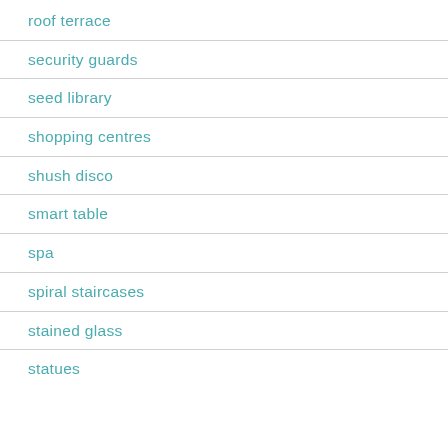roof terrace
security guards
seed library
shopping centres
shush disco
smart table
spa
spiral staircases
stained glass
statues